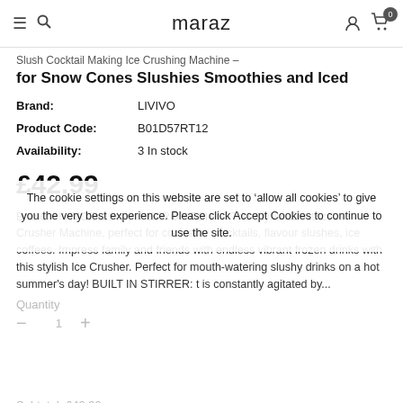maraz
Slush Cocktail Making Ice Crushing Machine - for Snow Cones Slushies Smoothies and Iced
| Brand: | LIVIVO |
| Product Code: | B01D57RT12 |
| Availability: | 3 In stock |
£42.99
Brand: LIVIVOFeatures: RETRO DESIGN: The Stylish Electric Ice Crusher Machine, perfect for cocktails, mocktails, flavour slushes, ice coffees. Impress family and friends with endless vibrant frozen drinks with this stylish Ice Crusher. Perfect for mouth-watering slushy drinks on a hot summer's day! BUILT IN STIRRER: t is constantly agitated by...
The cookie settings on this website are set to 'allow all cookies' to give you the very best experience. Please click Accept Cookies to continue to use the site.
Quantity
- 1 +
Subtotal: £42.99
PRIVACY POLICY   ACCEPT ✔